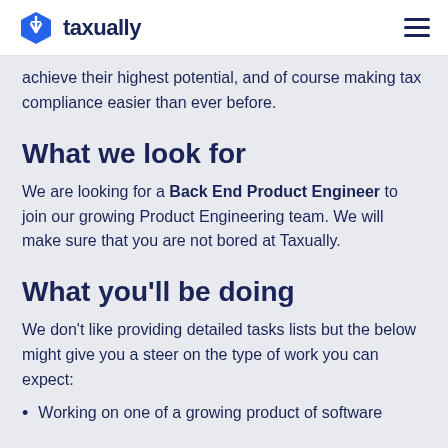taxually
achieve their highest potential, and of course making tax compliance easier than ever before.
What we look for
We are looking for a Back End Product Engineer to join our growing Product Engineering team. We will make sure that you are not bored at Taxually.
What you'll be doing
We don't like providing detailed tasks lists but the below might give you a steer on the type of work you can expect:
Working on one of a growing product of software